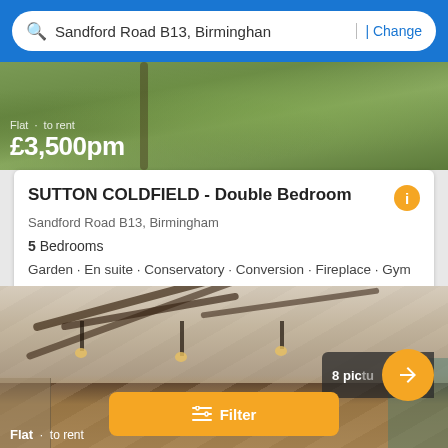Sandford Road B13, Birmingham | Change
[Figure (photo): Partial property exterior photo showing greenery/garden at top, with overlay text 'Flat · to rent' and price '£3,500pm']
SUTTON COLDFIELD - Double Bedroom
Sandford Road B13, Birmingham
5 Bedrooms
Garden · En suite · Conservatory · Conversion · Fireplace · Gym
First seen 2 days ago on Rentola
[Figure (photo): Interior photo of a modern living/dining room with decorative ceiling light installation, yellow furniture visible, with '8 pictures' badge and yellow arrow button, 'Flat · to rent' label at bottom, and yellow Filter button overlay]